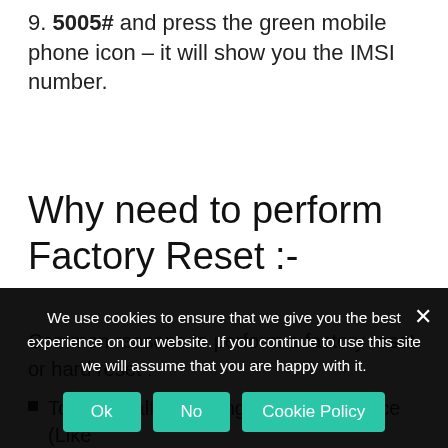9. 5005# and press the green mobile phone icon – it will show you the IMSI number.
Why need to perform Factory Reset :-
Common reasons to perform a factory reset or hard reset :
To fix a malfunctioning electronic device (Like
We use cookies to ensure that we give you the best experience on our website. If you continue to use this site we will assume that you are happy with it.